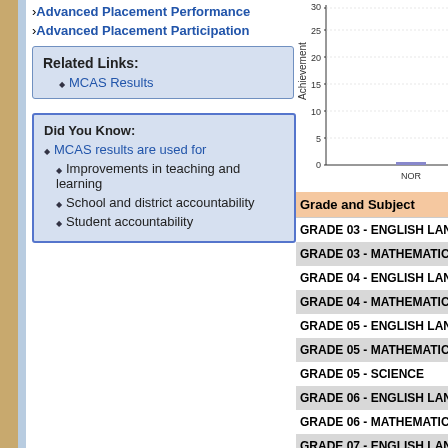Advanced Placement Performance
Advanced Placement Participation
Related Links:
• MCAS Results
Did You Know:
• MCAS results are used for
  • Improvements in teaching and learning
  • School and district accountability
  • Student accountability
[Figure (bar-chart): Achievement]
| Grade and Subject |
| --- |
| GRADE 03 - ENGLISH LANGUA… |
| GRADE 03 - MATHEMATICS |
| GRADE 04 - ENGLISH LANGUA… |
| GRADE 04 - MATHEMATICS |
| GRADE 05 - ENGLISH LANGUA… |
| GRADE 05 - MATHEMATICS |
| GRADE 05 - SCIENCE |
| GRADE 06 - ENGLISH LANGUA… |
| GRADE 06 - MATHEMATICS |
| GRADE 07 - ENGLISH LANGUA… |
| GRADE 07 - MATHEMATICS |